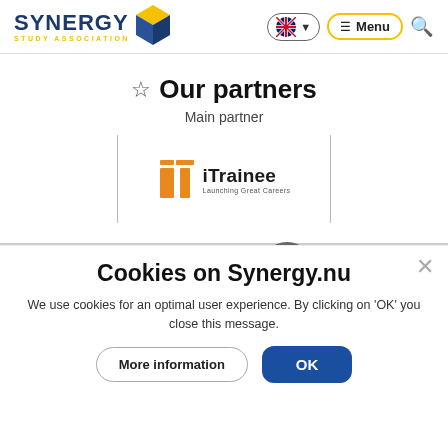[Figure (logo): Synergy Study Association logo with blue cube icon and yellow text 'STUDY ASSOCIATION' below]
[Figure (screenshot): Navigation bar with language selector (UK flag) and Menu button with yellow border, and search icon]
☆ Our partners
Main partner
[Figure (logo): iTrainee logo - orange 'it' icon with text 'iTrainee Launching Great Careers']
[Figure (screenshot): Cookie consent banner overlay]
Cookies on Synergy.nu
We use cookies for an optimal user experience. By clicking on 'OK' you close this message.
More information
OK